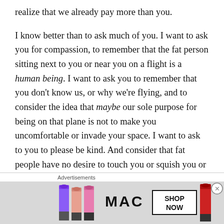realize that we already pay more than you.
I know better than to ask much of you. I want to ask you for compassion, to remember that the fat person sitting next to you or near you on a flight is a human being. I want to ask you to remember that you don't know us, or why we're flying, and to consider the idea that maybe our sole purpose for being on that plane is not to make you uncomfortable or invade your space. I want to ask to you to please be kind. And consider that fat people have no desire to touch you or squish you or infringe on your space any more than you wish to be infringed upon. We don't want to touch you any
Advertisements
[Figure (photo): MAC cosmetics advertisement showing colored lipsticks, the MAC logo, and a SHOP NOW button]